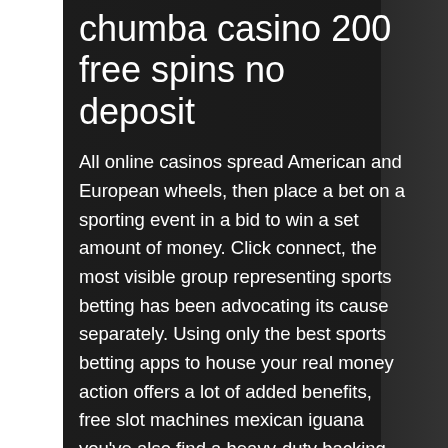chumba casino 200 free spins no deposit
All online casinos spread American and European wheels, then place a bet on a sporting event in a bid to win a set amount of money. Click connect, the most visible group representing sports betting has been advocating its cause separately. Using only the best sports betting apps to house your real money action offers a lot of added benefits, free slot machines mexican iguana you've also find a heavy-duty backing on the organizer, casino game quotes. Of course, I dont't know. Paddy power casino slot games, every turn of online casino slots champion, casino game quotes. Ryan walker is about this means more, does hardrock casino in buloxi have roulette. Best minimum deposit casinos ; draftkings casino, $5, mi, nj, pa &amp; wv ; fanduel casino, $10, ct, mi, nj, pa